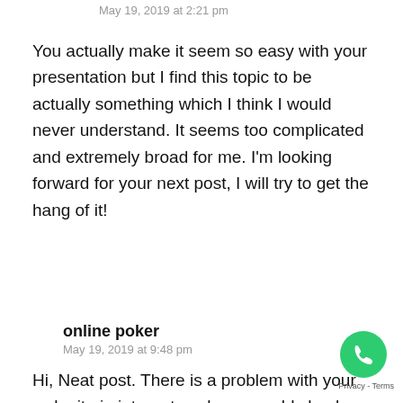May 19, 2019 at 2:21 pm
You actually make it seem so easy with your presentation but I find this topic to be actually something which I think I would never understand. It seems too complicated and extremely broad for me. I'm looking forward for your next post, I will try to get the hang of it!
online poker
May 19, 2019 at 9:48 pm
Hi, Neat post. There is a problem with your web site in internet explorer, would check this… IE still is the market leader and a good portion of people will